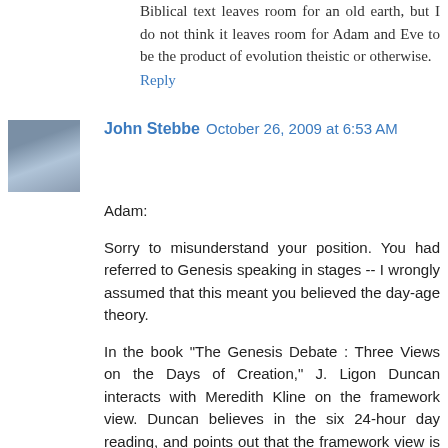Biblical text leaves room for an old earth, but I do not think it leaves room for Adam and Eve to be the product of evolution theistic or otherwise.
Reply
John Stebbe October 26, 2009 at 6:53 AM
Adam:
Sorry to misunderstand your position. You had referred to Genesis speaking in stages -- I wrongly assumed that this meant you believed the day-age theory.
In the book "The Genesis Debate : Three Views on the Days of Creation," J. Ligon Duncan interacts with Meredith Kline on the framework view. Duncan believes in the six 24-hour day reading, and points out that the framework view is basically a 20th-century innovation.
If people and animals were not vegetarians before the fall, then what does Gen 1:29-30 mean?